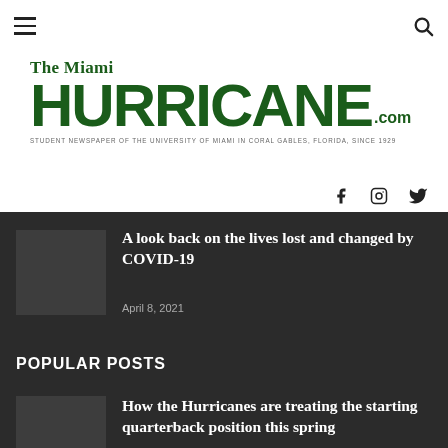The Miami HURRICANE.com — Student Newspaper of the University of Miami in Coral Gables, Florida, Since 1929
A look back on the lives lost and changed by COVID-19
April 8, 2021
POPULAR POSTS
How the Hurricanes are treating the starting quarterback position this spring